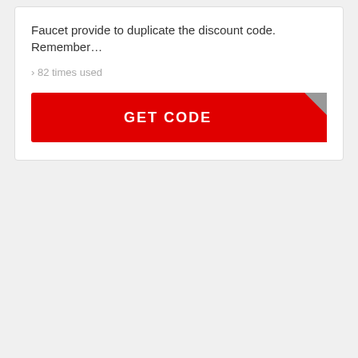Faucet provide to duplicate the discount code. Remember…
› 82 times used
[Figure (other): Red GET CODE button with folded corner effect in the top-right]